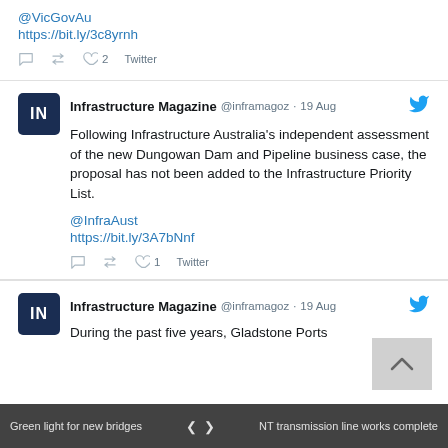@VicGovAu
https://bit.ly/3c8yrnh
2  Twitter
Infrastructure Magazine @inframagoz · 19 Aug
Following Infrastructure Australia's independent assessment of the new Dungowan Dam and Pipeline business case, the proposal has not been added to the Infrastructure Priority List.
@InfraAust
https://bit.ly/3A7bNnf
1  Twitter
Infrastructure Magazine @inframagoz · 19 Aug
During the past five years, Gladstone Ports
Green light for new bridges   NT transmission line works complete